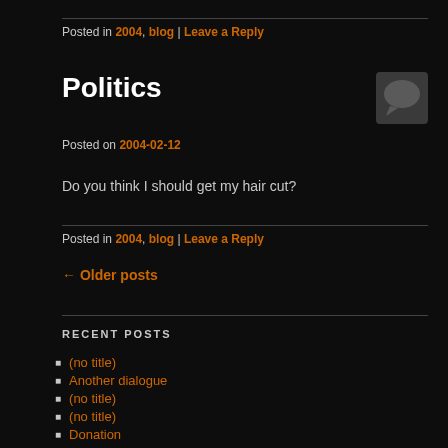Posted in 2004, blog | Leave a Reply
Politics
Posted on 2004-02-12
Do you think I should get my hair cut?
Posted in 2004, blog | Leave a Reply
← Older posts
RECENT POSTS
(no title)
Another dialogue
(no title)
(no title)
Donation